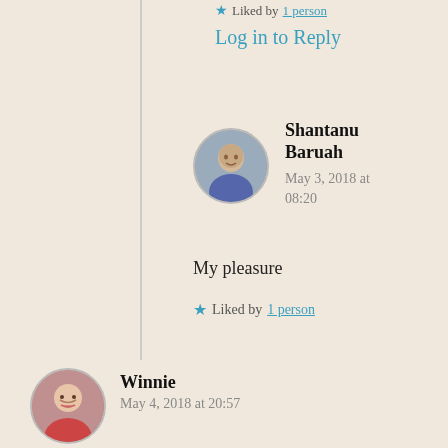★ Liked by 1 person
Log in to Reply
Shantanu Baruah
May 3, 2018 at 08:20
My pleasure
★ Liked by 1 person
Winnie
May 4, 2018 at 20:57